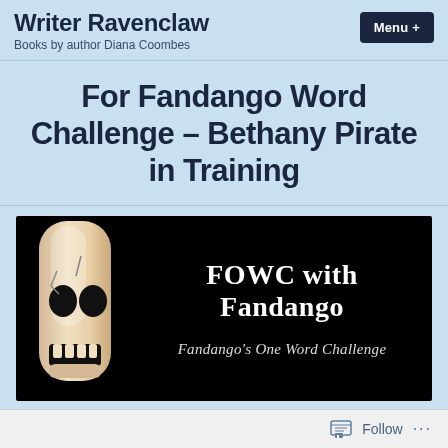Writer Ravenclaw – Books by author Diana Coombes
For Fandango Word Challenge – Bethany Pirate in Training
[Figure (illustration): Banner image with black background showing a cartoon skull on the left and text 'FOWC with Fandango' in bold serif font with 'Fandango's One Word Challenge' in italic below]
Follow